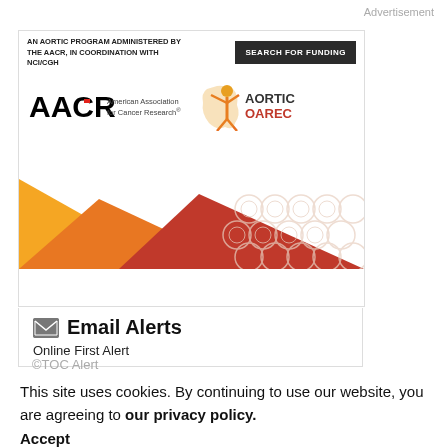Advertisement
[Figure (screenshot): AACR/AORTIC funding program advertisement banner with 'AN AORTIC PROGRAM ADMINISTERED BY THE AACR, IN COORDINATION WITH NCI/CGH' text, SEARCH FOR FUNDING button, AACR and AORTIC logos, and decorative geometric pattern in orange/red colors]
Email Alerts
Online First Alert
©TOC Alert
This site uses cookies. By continuing to use our website, you are agreeing to our privacy policy. Accept